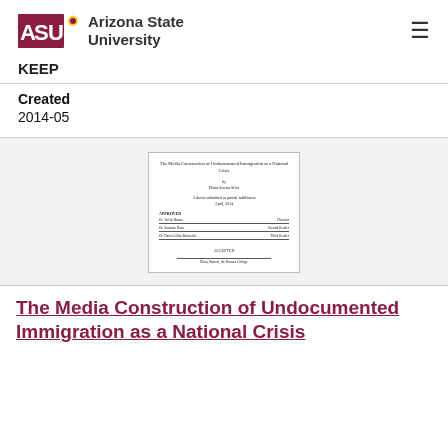[Figure (logo): Arizona State University logo with ASU text and sunburst icon, followed by 'Arizona State University' text]
KEEP
Created
2014-05
[Figure (other): Thumbnail image of a thesis title page for 'The Media Construction of Undocumented Immigration as a National Crisis']
The Media Construction of Undocumented Immigration as a National Crisis